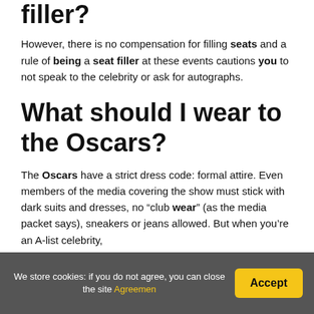filler?
However, there is no compensation for filling seats and a rule of being a seat filler at these events cautions you to not speak to the celebrity or ask for autographs.
What should I wear to the Oscars?
The Oscars have a strict dress code: formal attire. Even members of the media covering the show must stick with dark suits and dresses, no “club wear” (as the media packet says), sneakers or jeans allowed. But when you’re an A-list celebrity,
We store cookies: if you do not agree, you can close the site Agreemen | Accept